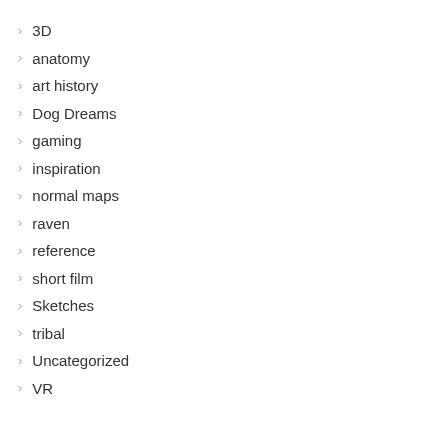3D
anatomy
art history
Dog Dreams
gaming
inspiration
normal maps
raven
reference
short film
Sketches
tribal
Uncategorized
VR